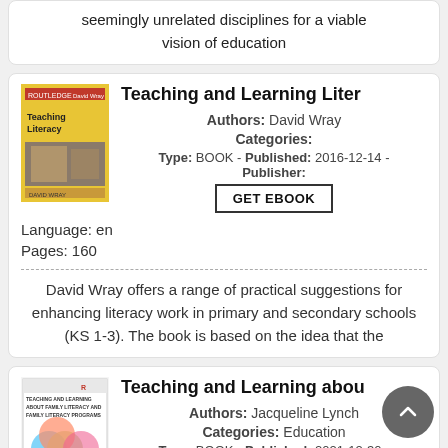seemingly unrelated disciplines for a viable vision of education
Teaching and Learning Liter
Authors: David Wray
Categories:
Type: BOOK - Published: 2016-12-14 - Publisher:
Language: en
Pages: 160
GET EBOOK
David Wray offers a range of practical suggestions for enhancing literacy work in primary and secondary schools (KS 1-3). The book is based on the idea that the
Teaching and Learning abou
Authors: Jacqueline Lynch
Categories: Education
Type: BOOK - Published: 2021-12-30 -